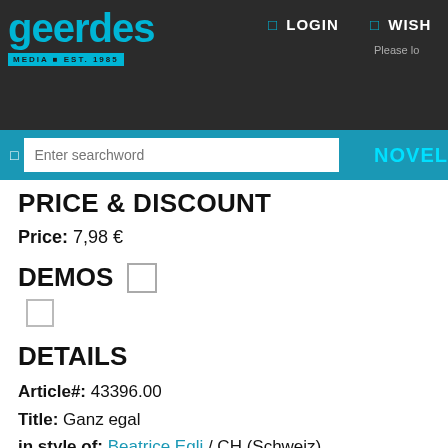geerdes MEDIA EST. 1985
LOGIN | WISH | Please lo
Enter searchword | NOVEL
PRICE & DISCOUNT
Price: 7,98 €
DEMOS
DETAILS
Article#: 43396.00
Title: Ganz egal
in style of: Beatrice Egli / CH (Schweiz)
Our release date: 30.05.2022